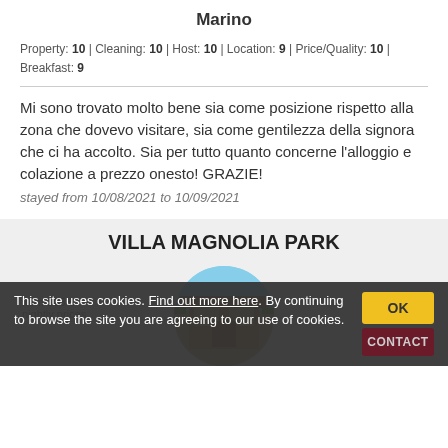Marino
Property: 10 | Cleaning: 10 | Host: 10 | Location: 9 | Price/Quality: 10 | Breakfast: 9
Mi sono trovato molto bene sia come posizione rispetto alla zona che dovevo visitare, sia come gentilezza della signora che ci ha accolto. Sia per tutto quanto concerne l'alloggio e colazione a prezzo onesto! GRAZIE!
stayed from 10/08/2021 to 10/09/2021
VILLA MAGNOLIA PARK
[Figure (photo): Circular photo of Villa Magnolia Park building exterior with blue sky]
This site uses cookies. Find out more here. By continuing to browse the site you are agreeing to our use of cookies.